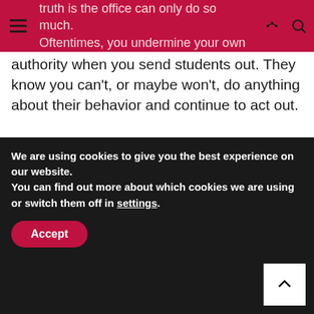truth is the office can only do so much. Oftentimes, you undermine your own
authority when you send students out. They know you can't, or maybe won't, do anything about their behavior and continue to act out.
Dig in. Find your grit. Handle your classroom. Stop sending kids to the office! How can I do that? Keep reading, teacher friend!
2. SET EXPECTATIONS ALL DAY
We are using cookies to give you the best experience on our website.
You can find out more about which cookies we are using or switch them off in settings.